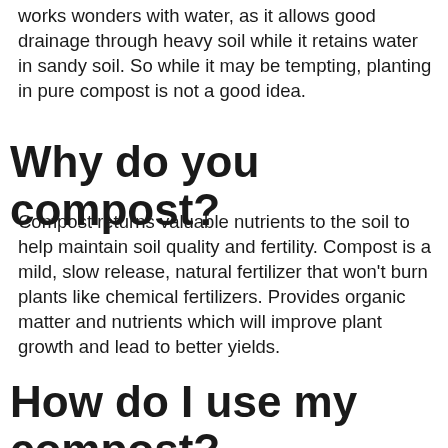works wonders with water, as it allows good drainage through heavy soil while it retains water in sandy soil. So while it may be tempting, planting in pure compost is not a good idea.
Why do you compost?
Compost returns valuable nutrients to the soil to help maintain soil quality and fertility. Compost is a mild, slow release, natural fertilizer that won't burn plants like chemical fertilizers. Provides organic matter and nutrients which will improve plant growth and lead to better yields.
How do I use my compost?